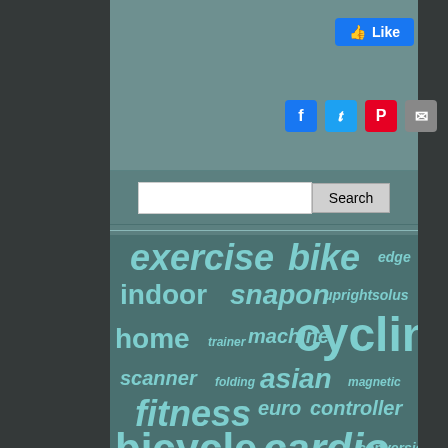[Figure (screenshot): Like button widget with thumbs up icon and 'Like' text on blue background]
[Figure (screenshot): Social sharing icons: Facebook (blue), Twitter (light blue), Pinterest (red), Email (grey)]
[Figure (screenshot): Search bar with input field and Search button]
[Figure (infographic): Word tag cloud with exercise bike related terms: exercise, bike, edge, indoor, snapon, upright, solus, home, trainer, machine, cycling, scanner, folding, asian, magnetic, fitness, euro, controller, bicycle, cardio, conversion, stationary]
exercise bike edge indoor snapon upright solus home trainer machine cycling scanner folding asian magnetic fitness euro controller bicycle cardio conversion stationary